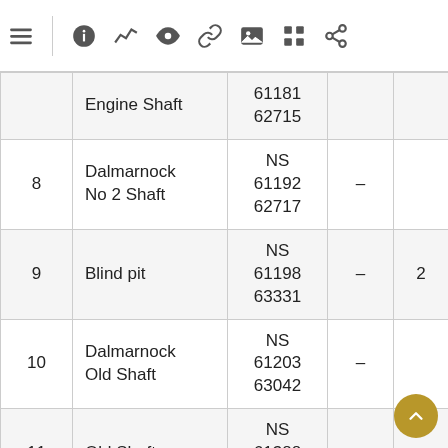|  | Name | Grid Ref |  |  |
| --- | --- | --- | --- | --- |
|  | Engine Shaft | 61181
62715 |  |  |
| 8 | Dalmarnock
No 2 Shaft | NS
61192
62717 | – |  |
| 9 | Blind pit | NS
61198
63331 | – | 2 |
| 10 | Dalmarnock
Old Shaft | NS
61203
63042 | – |  |
| 11 | Old Shaft | NS
61388
63278 | – |  |
| 12 | Old Shaft | NS
61677
63426 | – |  |